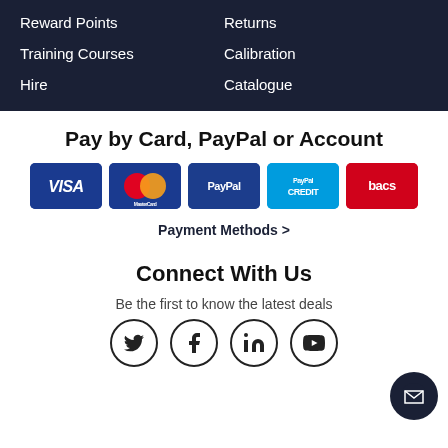Reward Points
Training Courses
Hire
Returns
Calibration
Catalogue
Pay by Card, PayPal or Account
[Figure (infographic): Payment method logos: VISA, MasterCard, PayPal, PayPal Credit, Bacs]
Payment Methods >
Connect With Us
Be the first to know the latest deals
[Figure (infographic): Social media icons: Twitter, Facebook, LinkedIn, YouTube. Email icon float button bottom right.]